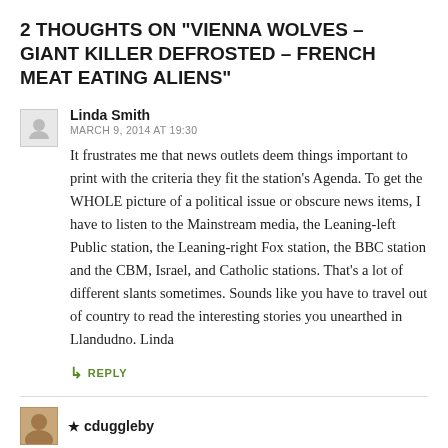2 THOUGHTS ON "VIENNA WOLVES – GIANT KILLER DEFROSTED – FRENCH MEAT EATING ALIENS"
Linda Smith
MARCH 9, 2014 AT 19:30
It frustrates me that news outlets deem things important to print with the criteria they fit the station's Agenda. To get the WHOLE picture of a political issue or obscure news items, I have to listen to the Mainstream media, the Leaning-left Public station, the Leaning-right Fox station, the BBC station and the CBM, Israel, and Catholic stations. That's a lot of different slants sometimes. Sounds like you have to travel out of country to read the interesting stories you unearthed in Llandudno. Linda
↳ REPLY
★ cduggleby